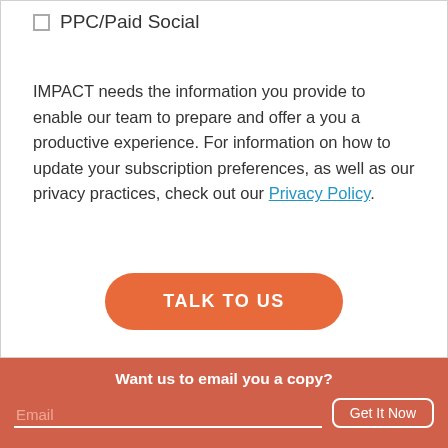PPC/Paid Social
IMPACT needs the information you provide to enable our team to prepare and offer a you a productive experience. For information on how to update your subscription preferences, as well as our privacy practices, check out our Privacy Policy.
TALK TO US
Want us to email you a copy?
Email
Get It Now